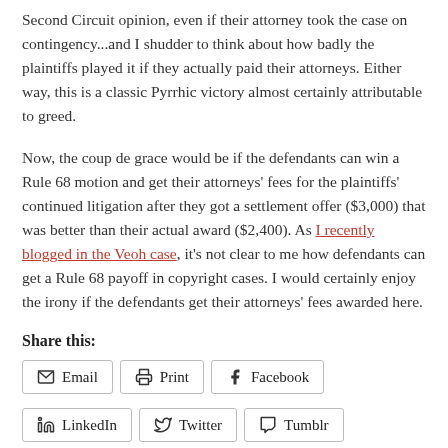Second Circuit opinion, even if their attorney took the case on contingency...and I shudder to think about how badly the plaintiffs played it if they actually paid their attorneys. Either way, this is a classic Pyrrhic victory almost certainly attributable to greed.
Now, the coup de grace would be if the defendants can win a Rule 68 motion and get their attorneys' fees for the plaintiffs' continued litigation after they got a settlement offer ($3,000) that was better than their actual award ($2,400). As I recently blogged in the Veoh case, it's not clear to me how defendants can get a Rule 68 payoff in copyright cases. I would certainly enjoy the irony if the defendants get their attorneys' fees awarded here.
Share this:
Email
Print
Facebook
LinkedIn
Twitter
Tumblr
Pinterest
Pocket
Reddit